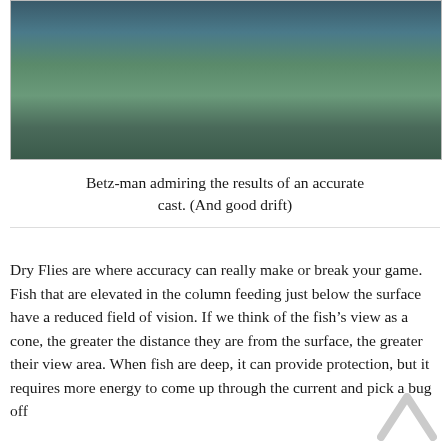[Figure (photo): A person in a light blue shirt and grey hat crouching over water, holding a brown trout fish near the water surface while fly fishing.]
Betz-man admiring the results of an accurate cast. (And good drift)
Dry Flies are where accuracy can really make or break your game. Fish that are elevated in the column feeding just below the surface have a reduced field of vision. If we think of the fish’s view as a cone, the greater the distance they are from the surface, the greater their view area. When fish are deep, it can provide protection, but it requires more energy to come up through the current and pick a bug off